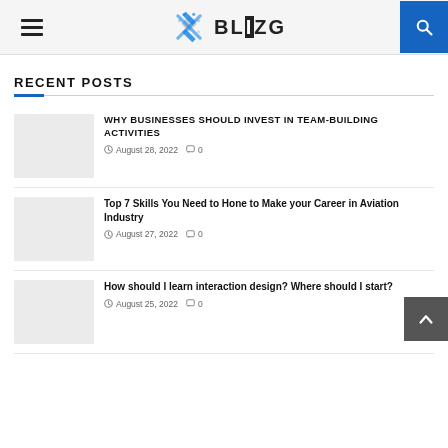[Figure (logo): BLIZG website logo with blue snowflake-like icon and bold text]
RECENT POSTS
WHY BUSINESSES SHOULD INVEST IN TEAM-BUILDING ACTIVITIES — August 28, 2022 — 0 comments
Top 7 Skills You Need to Hone to Make your Career in Aviation Industry — August 27, 2022 — 0 comments
How should I learn interaction design? Where should I start? — August 25, 2022 — 0 comments